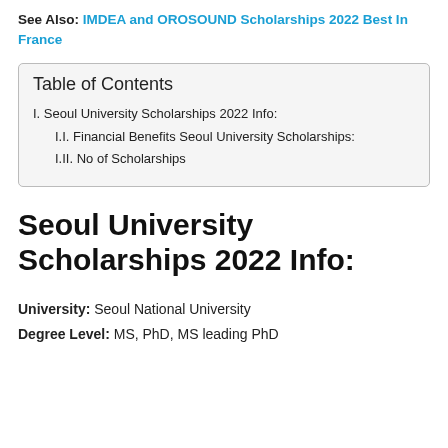See Also: IMDEA and OROSOUND Scholarships 2022 Best In France
| Table of Contents |
| --- |
| I. Seoul University Scholarships 2022 Info: |
| I.I. Financial Benefits Seoul University Scholarships: |
| I.II. No of Scholarships |
Seoul University Scholarships 2022 Info:
University: Seoul National University
Degree Level: MS, PhD, MS leading PhD